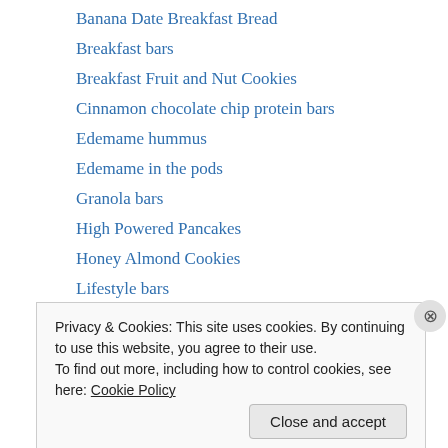Banana Date Breakfast Bread
Breakfast bars
Breakfast Fruit and Nut Cookies
Cinnamon chocolate chip protein bars
Edemame hummus
Edemame in the pods
Granola bars
High Powered Pancakes
Honey Almond Cookies
Lifestyle bars
Loaded oats
Nut butter chia cookies
Power balls
Privacy & Cookies: This site uses cookies. By continuing to use this website, you agree to their use. To find out more, including how to control cookies, see here: Cookie Policy
Close and accept